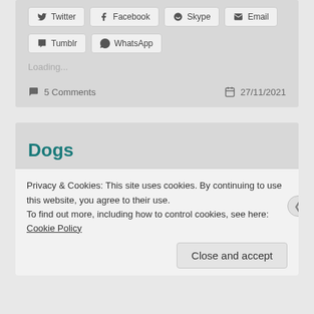Twitter
Facebook
Skype
Email
Tumblr
WhatsApp
Loading...
5 Comments
27/11/2021
Dogs
Privacy & Cookies: This site uses cookies. By continuing to use this website, you agree to their use.
To find out more, including how to control cookies, see here: Cookie Policy
Close and accept